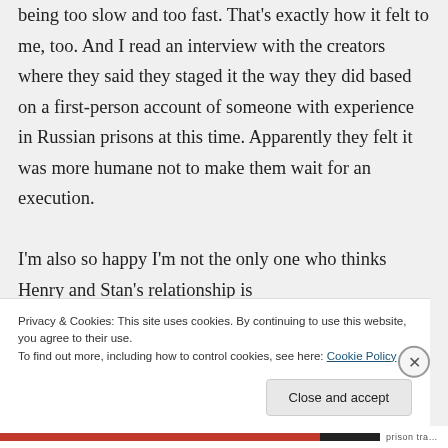being too slow and too fast. That's exactly how it felt to me, too. And I read an interview with the creators where they said they staged it the way they did based on a first-person account of someone with experience in Russian prisons at this time. Apparently they felt it was more humane not to make them wait for an execution.

I'm also so happy I'm not the only one who thinks Henry and Stan's relationship is
Privacy & Cookies: This site uses cookies. By continuing to use this website, you agree to their use.
To find out more, including how to control cookies, see here: Cookie Policy
Close and accept